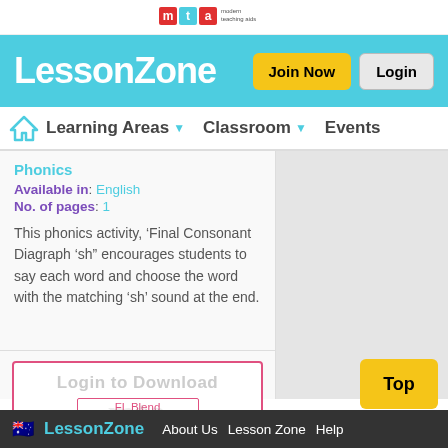MTA Modern Teaching Aids
LessonZone
Learning Areas | Classroom | Events
Phonics
Available in: English
No. of pages: 1
This phonics activity, ‘Final Consonant Diagraph ‘sh” encourages students to say each word and choose the word with the matching ‘sh’ sound at the end.
[Figure (screenshot): Login to Download preview with FL Blend label and MTA watermark]
LessonZone | About Us | Lesson Zone | Help